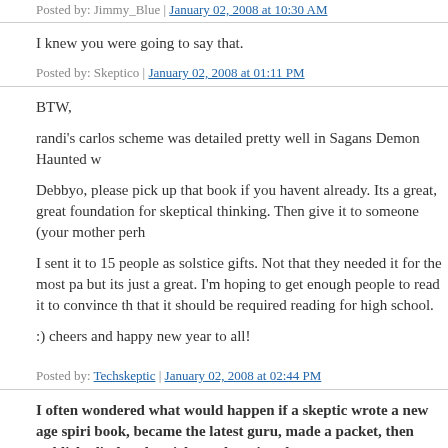Posted by: Jimmy_Blue | January 02, 2008 at 10:30 AM
I knew you were going to say that.
Posted by: Skeptico | January 02, 2008 at 01:11 PM
BTW,

randi's carlos scheme was detailed pretty well in Sagans Demon Haunted w

Debbyo, please pick up that book if you havent already. Its a great, great foundation for skeptical thinking. Then give it to someone (your mother perh

I sent it to 15 people as solstice gifts. Not that they needed it for the most pa but its just a great. I'm hoping to get enough people to read it to convince th that it should be required reading for high school.

:) cheers and happy new year to all!
Posted by: Techskeptic | January 02, 2008 at 02:44 PM
I often wondered what would happen if a skeptic wrote a new age spiri book, became the latest guru, made a packet, then publicly disclosed t trickery, donating the money to cancer research. What do you think th